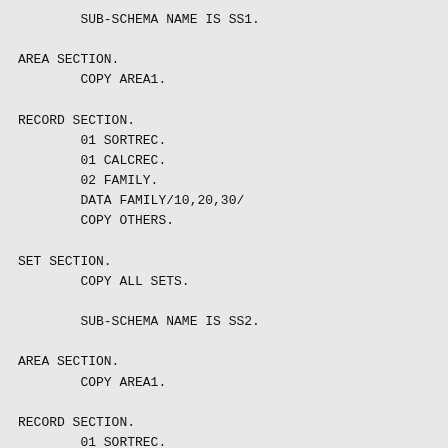SUB-SCHEMA NAME IS SS1.

AREA SECTION.
        COPY AREA1.

RECORD SECTION.
        01 SORTREC.
        01 CALCREC.
        02 FAMILY.
        DATA FAMILY/10,20,30/
        COPY OTHERS.

SET SECTION.
        COPY ALL SETS.

        SUB-SCHEMA NAME IS SS2.

AREA SECTION.
        COPY AREA1.

RECORD SECTION.
        01 SORTREC.
        01 CALCREC.
        02 FAMILY.
        03 A PIC 9(10) COMP VALUE 10.
        03 B PIC 9(20) COMP VALUE 10.
        03 C PIC 9(30) COMP VALUE 10.
        COPY OTHERS.

SET SECTION.